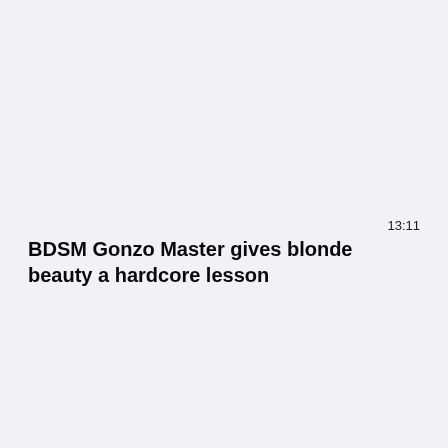13:11
BDSM Gonzo Master gives blonde beauty a hardcore lesson